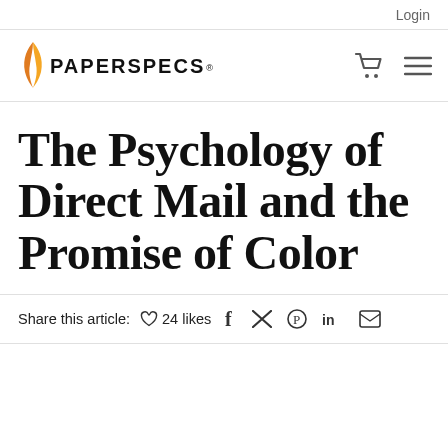Login
[Figure (logo): PaperSpecs logo with orange flame/leaf icon and uppercase text PAPER SPECS, with shopping cart and hamburger menu icons on the right]
The Psychology of Direct Mail and the Promise of Color
Share this article: ♡ 24 likes  f  𝕏  ⊕  in  ✉